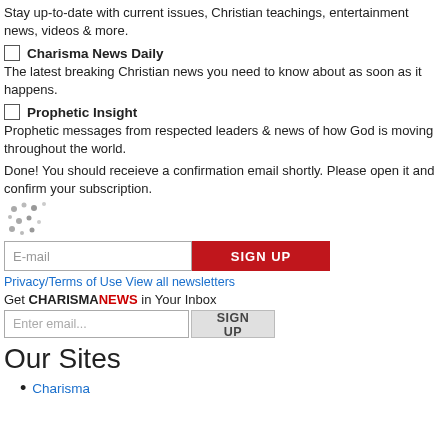Stay up-to-date with current issues, Christian teachings, entertainment news, videos & more.
☐ Charisma News Daily
The latest breaking Christian news you need to know about as soon as it happens.
☐ Prophetic Insight
Prophetic messages from respected leaders & news of how God is moving throughout the world.
Done! You should receieve a confirmation email shortly. Please open it and confirm your subscription.
E-mail [input] SIGN UP
Privacy/Terms of Use View all newsletters
Get CHARISMANEWS in Your Inbox
Enter email... SIGN UP
Our Sites
Charisma